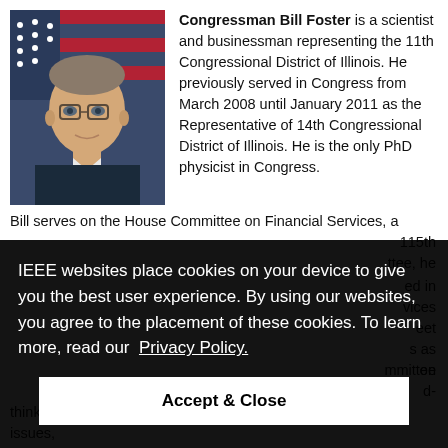[Figure (photo): Official portrait photo of Congressman Bill Foster, a middle-aged man wearing glasses, a dark suit and tie, with an American flag in the background.]
Congressman Bill Foster is a scientist and businessman representing the 11th Congressional District of Illinois. He previously served in Congress from March 2008 until January 2011 as the Representative of 14th Congressional District of Illinois. He is the only PhD physicist in Congress.
Bill serves on the House Committee on Financial Services, a ... 115th ... ttee, he ... ed in ... vices ... eet ... s as ... on
IEEE websites place cookies on your device to give you the best user experience. By using our websites, you agree to the placement of these cookies. To learn more, read our Privacy Policy.
Accept & Close
...mmittee ...d- thinking approaches to some of our country's most pressing issues,